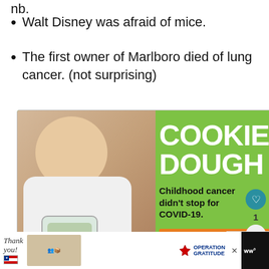nb.
Walt Disney was afraid of mice.
The first owner of Marlboro died of lung cancer. (not surprising)
[Figure (photo): Advertisement for Cookies for Kids' Cancer featuring a young girl holding a jar of money, with text: COOKIE DOUGH, Childhood cancer didn't stop for COVID-19. LETS GET BAKING, cookies for kids' cancer]
[Figure (photo): Bottom banner ad showing 'Thank you!' with Operation Gratitude branding and people in masks holding packages]